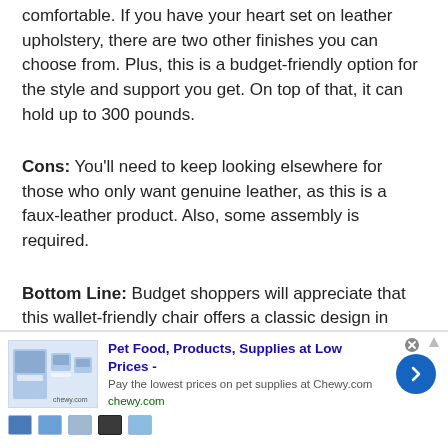comfortable. If you have your heart set on leather upholstery, there are two other finishes you can choose from. Plus, this is a budget-friendly option for the style and support you get. On top of that, it can hold up to 300 pounds.
Cons: You'll need to keep looking elsewhere for those who only want genuine leather, as this is a faux-leather product. Also, some assembly is required.
Bottom Line: Budget shoppers will appreciate that this wallet-friendly chair offers a classic design in three fantastic neutral shades and can support up to 300 pounds.
[Figure (other): Advertisement banner for Chewy.com — Pet Food, Products, Supplies at Low Prices. Shows product images, a clickable arrow button, and close/ad icons.]